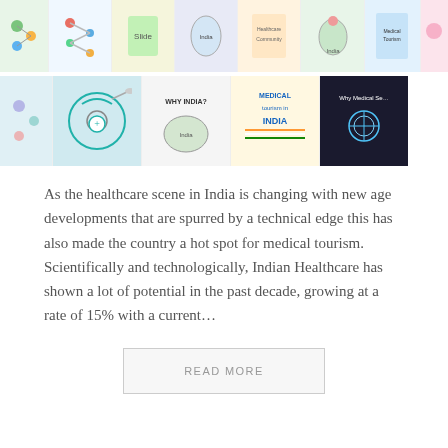[Figure (photo): Top strip of medical tourism related thumbnail images including infographics, India map, doctors, and medical symbols]
[Figure (photo): Second strip of medical tourism related thumbnail images including stethoscope with plane, India map collage, Medical Tourism in India text, and Why Medical text]
As the healthcare scene in India is changing with new age developments that are spurred by a technical edge this has also made the country a hot spot for medical tourism. Scientifically and technologically, Indian Healthcare has shown a lot of potential in the past decade, growing at a rate of 15% with a current...
READ MORE